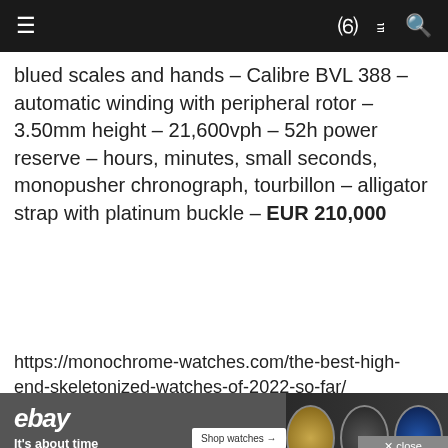≡  ) ⌕
blued scales and hands – Calibre BVL 388 – automatic winding with peripheral rotor – 3.50mm height – 21,600vph – 52h power reserve – hours, minutes, small seconds, monopusher chronograph, tourbillon – alligator strap with platinum buckle – EUR 210,000
https://monochrome-watches.com/the-best-high-end-skeletonized-watches-of-2022-so-far/
[Figure (screenshot): eBay advertisement banner: dark grey background with ebay logo, 'It's about time' tagline, 'Shop watches' button, and watch images on the right]
[Figure (screenshot): eBay advertisement banner: teal/cyan background with ebay logo, 'It's about time' tagline, 'Shop watches' button, and watch images on the right]